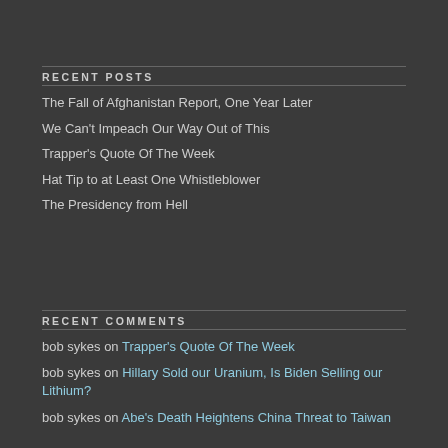RECENT POSTS
The Fall of Afghanistan Report, One Year Later
We Can't Impeach Our Way Out of This
Trapper's Quote Of The Week
Hat Tip to at Least One Whistleblower
The Presidency from Hell
RECENT COMMENTS
bob sykes on Trapper's Quote Of The Week
bob sykes on Hillary Sold our Uranium, Is Biden Selling our Lithium?
bob sykes on Abe's Death Heightens China Threat to Taiwan